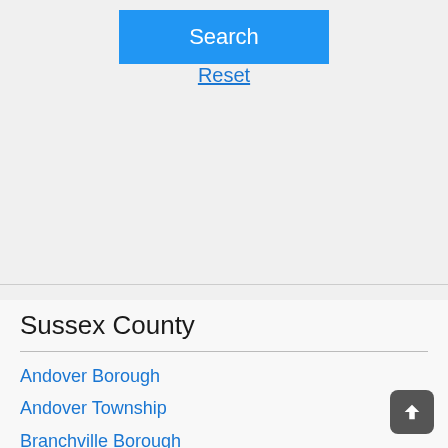[Figure (screenshot): Blue Search button]
Reset
Sussex County
Andover Borough
Andover Township
Branchville Borough
Byram Township
Frankford Township
Franklin Borough
Fredon Township